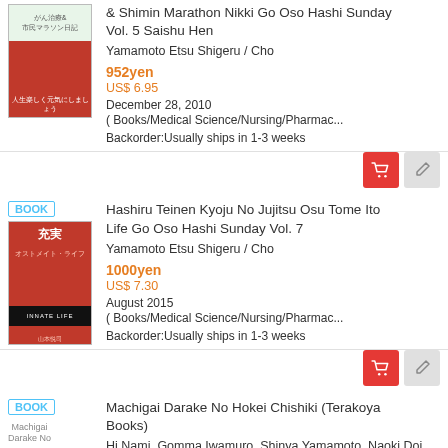[Figure (photo): Book cover for Gan Chiryo & Shimin Marathon Nikki Go Oso Hashi Sunday Vol. 5 Saishu Hen, red and white cover with Japanese text and author photo]
& Shimin Marathon Nikki Go Oso Hashi Sunday Vol. 5 Saishu Hen
Yamamoto Etsu Shigeru / Cho
952yen
US$ 6.95
December 28, 2010
( Books/Medical Science/Nursing/Pharmac...
Backorder:Usually ships in 1-3 weeks
BOOK
[Figure (photo): Book cover for Hashiru Teinen Kyoju No Jujitsu Osu Tome Ito Life Go Oso Hashi Sunday Vol. 7, red cover with Japanese text and running figure]
Hashiru Teinen Kyoju No Jujitsu Osu Tome Ito Life Go Oso Hashi Sunday Vol. 7
Yamamoto Etsu Shigeru / Cho
1000yen
US$ 7.30
August 2015
( Books/Medical Science/Nursing/Pharmac...
Backorder:Usually ships in 1-3 weeks
BOOK
Machigai Darake No Hokei Chishiki (Terakoya Books)
Hi Nami, Gomma Iwamuro, Shinya Yamamoto, Naoki Doi...